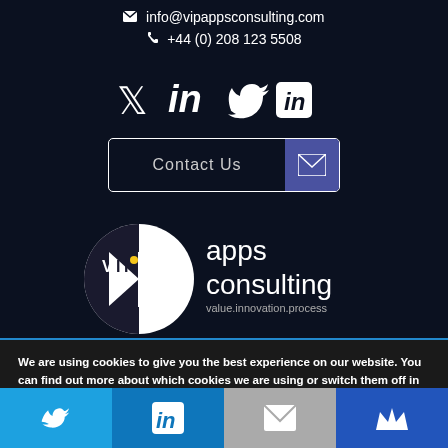✉ info@vipappsconsulting.com
📞 +44 (0) 208 123 5508
[Figure (other): Twitter and LinkedIn social icons (white on dark background)]
[Figure (other): Contact Us button with envelope icon on blue background]
[Figure (logo): VIP Apps Consulting logo - circular VIP badge with text 'apps consulting' and tagline 'value.innovation.process']
We are using cookies to give you the best experience on our website. You can find out more about which cookies we are using or switch them off in settings.
[Figure (other): Bottom navigation bar with four colored buttons: Twitter (light blue), LinkedIn (dark blue), Email (gray), Crown/VIP (dark blue)]